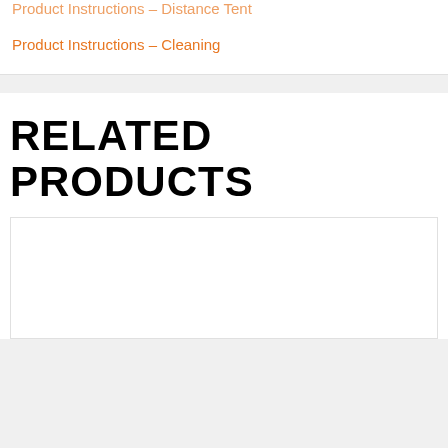Product Instructions – Distance Tent
Product Instructions – Cleaning
RELATED PRODUCTS
[Figure (other): Product card image placeholder — white rectangle with border]